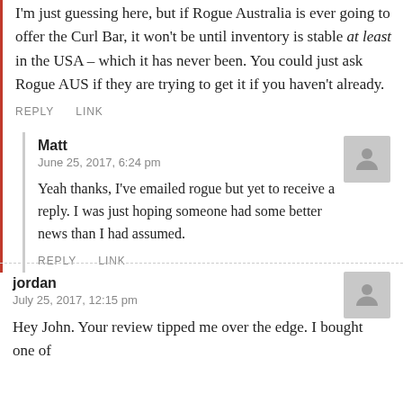I'm just guessing here, but if Rogue Australia is ever going to offer the Curl Bar, it won't be until inventory is stable at least in the USA – which it has never been. You could just ask Rogue AUS if they are trying to get it if you haven't already.
REPLY   LINK
Matt
June 25, 2017, 6:24 pm
Yeah thanks, I've emailed rogue but yet to receive a reply. I was just hoping someone had some better news than I had assumed.
REPLY   LINK
jordan
July 25, 2017, 12:15 pm
Hey John. Your review tipped me over the edge. I bought one of